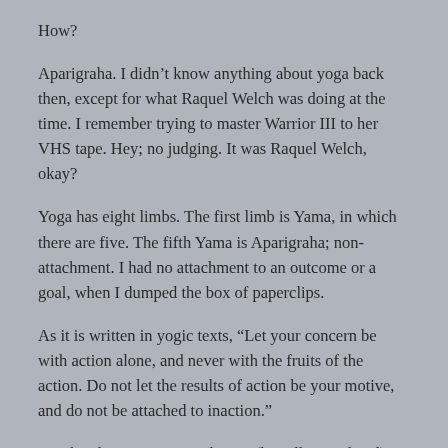How?
Aparigraha.  I didn't know anything about yoga back then, except for what Raquel Welch was doing at the time.  I remember trying to master Warrior III to her VHS tape.  Hey; no judging.  It was Raquel Welch, okay?
Yoga has eight limbs.  The first limb is Yama, in which there are five.  The fifth Yama is Aparigraha; non-attachment.  I had no attachment to an outcome or a goal, when I dumped the box of paperclips.
As it is written in yogic texts, “Let your concern be with action alone, and never with the fruits of the action.  Do not let the results of action be your motive, and do not be attached to inaction.”
Quick sidenote: Action is karma (literally translated).  Karma is action, not a transaction.